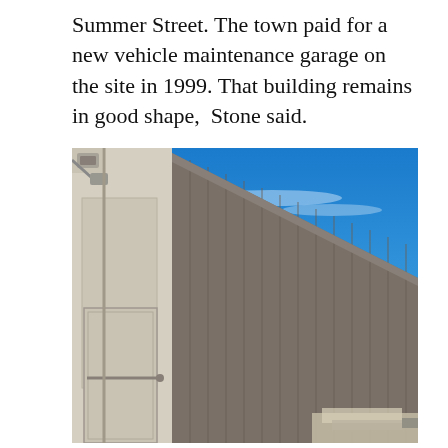Summer Street. The town paid for a new vehicle maintenance garage on the site in 1999. That building remains in good shape, Stone said.
[Figure (photo): Exterior view of a large wooden vehicle maintenance garage building with vertical board siding in weathered grey-brown color. A tan/cream colored section is visible on the left side with a door. The roof line angles upward to the right against a bright blue winter sky. Bare deciduous trees are visible in the background on the right side. Some construction materials or debris are visible at ground level on the right.]